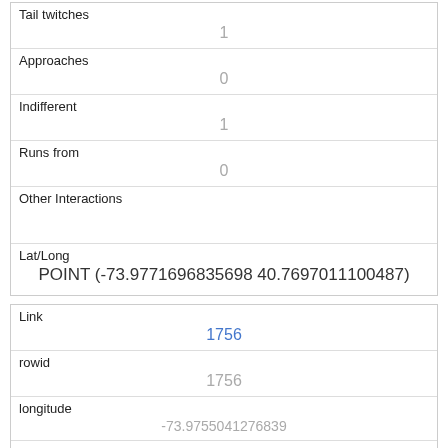| Tail twitches | 1 |
| Approaches | 0 |
| Indifferent | 1 |
| Runs from | 0 |
| Other Interactions |  |
| Lat/Long | POINT (-73.9771696835698 40.7697011100487) |
| Link | 1756 |
| rowid | 1756 |
| longitude | -73.9755041276839 |
| latitude | 40.7678213857557 |